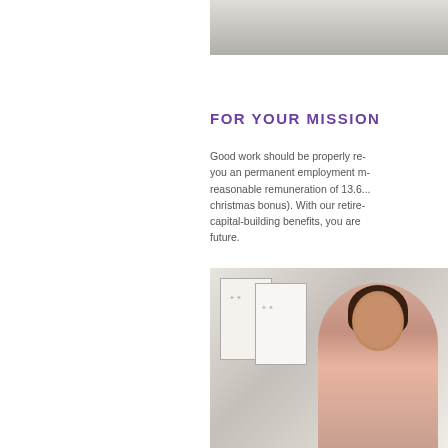[Figure (photo): Partial photo at top right, appears to be an office/desk setting]
FOR YOUR MISSION
Good work should be properly re- you an permanent employment r- reasonable remuneration of 13.6... christmas bonus). With our retire- capital-building benefits, you are future.
[Figure (photo): Woman with curly hair smiling, standing in front of whiteboards, appears to be in a presentation or teaching setting]